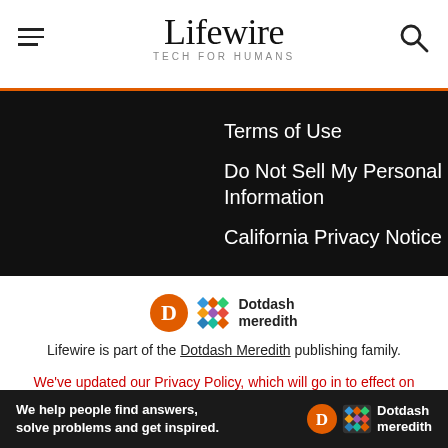Lifewire — TECH FOR HUMANS
Terms of Use
Do Not Sell My Personal Information
California Privacy Notice
[Figure (logo): Dotdash Meredith logo — orange D circle and colorful diamond grid icon with text 'Dotdash meredith']
Lifewire is part of the Dotdash Meredith publishing family.
We've updated our Privacy Policy, which will go in to effect on September 1, 2022. Review our Privacy Policy
[Figure (infographic): Dotdash Meredith ad banner: dark background with text 'We help people find answers, solve problems and get inspired.' and Dotdash Meredith logo on the right]